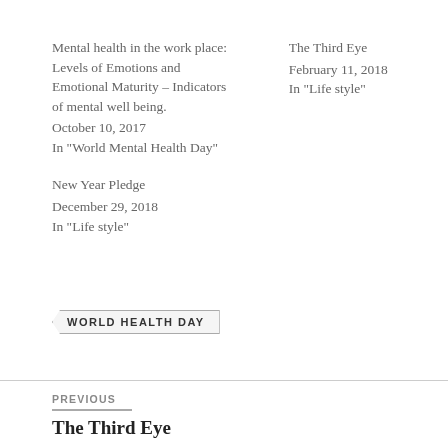Mental health in the work place: Levels of Emotions and Emotional Maturity – Indicators of mental well being.
October 10, 2017
In "World Mental Health Day"
The Third Eye
February 11, 2018
In "Life style"
New Year Pledge
December 29, 2018
In "Life style"
WORLD HEALTH DAY
PREVIOUS
The Third Eye